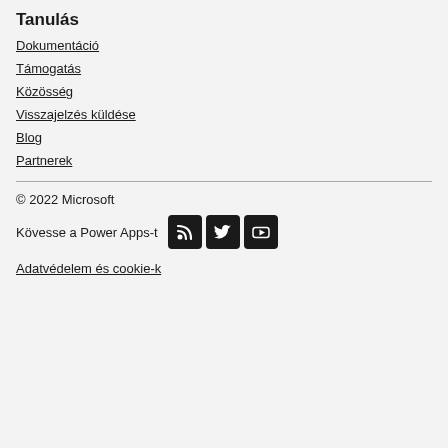Tanulás
Dokumentáció
Támogatás
Közösség
Visszajelzés küldése
Blog
Partnerek
© 2022 Microsoft
Kövesse a Power Apps-t
[Figure (infographic): Social media icons: RSS feed, Twitter, YouTube — dark square buttons]
Adatvédelem és cookie-k